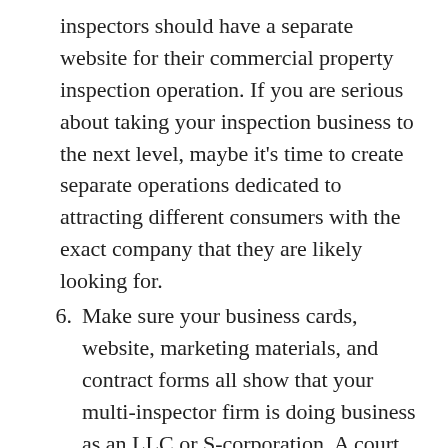inspectors should have a separate website for their commercial property inspection operation. If you are serious about taking your inspection business to the next level, maybe it’s time to create separate operations dedicated to attracting different consumers with the exact company that they are likely looking for.
6. Make sure your business cards, website, marketing materials, and contract forms all show that your multi-inspector firm is doing business as an LLC or S-corporation. A court